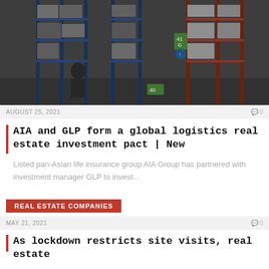[Figure (photo): Warehouse interior with tall shelving racks stocked with goods, numbered aisles (40, 41), a worker visible in the foreground]
AUGUST 25, 2021   0
AIA and GLP form a global logistics real estate investment pact | New
Listed pan-Asian life insurance group AIA Group has partnered with investment manager GLP to invest...
REAL ESTATE COMPANIES
MAY 21, 2021   0
As lockdown restricts site visits, real estate